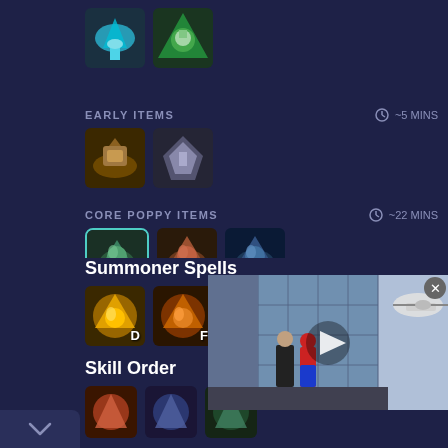[Figure (illustration): Two game item icons at the top: a cyan wing/shoe item and a green crystal/potion item]
EARLY ITEMS
~5 MINS
[Figure (illustration): Two early game item icons: brown boots and silver wings item]
CORE POPPY ITEMS
~22 MINS
[Figure (illustration): Three core Poppy items: green highlighted item (selected), brown/orange item, blue item]
Optional Items
[Figure (illustration): Two optional item icons: blue crystal item and red creature item]
Summoner Spells
[Figure (illustration): Two summoner spell icons: yellow/gold spell labeled D, orange spell labeled F]
Skill Order
[Figure (illustration): Three skill order icons at bottom]
[Figure (screenshot): Video overlay showing Spider-Man scene on building rooftop with helicopter, play button overlay and close X button]